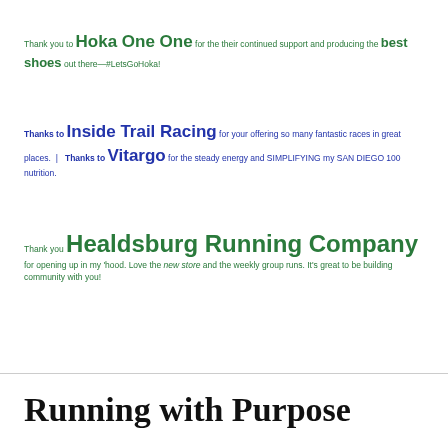Thank you to Hoka One One for the their continued support and producing the best shoes out there—#LetsGoHoka!
Thanks to Inside Trail Racing for your offering so many fantastic races in great places.  |  Thanks to Vitargo for the steady energy and SIMPLIFYING my SAN DIEGO 100 nutrition.
Thank you Healdsburg Running Company for opening up in my 'hood. Love the new store and the weekly group runs. It's great to be building community with you!
Running with Purpose